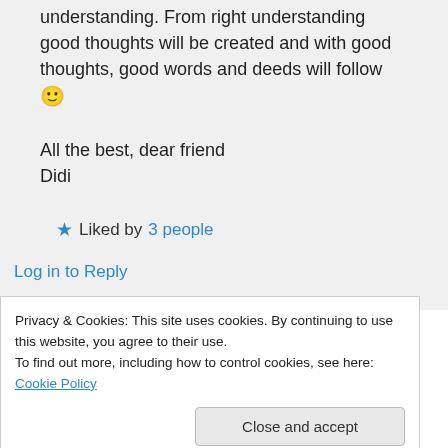understanding. From right understanding good thoughts will be created and with good thoughts, good words and deeds will follow 🙂

All the best, dear friend
Didi
★ Liked by 3 people
Log in to Reply
Advertisements
Privacy & Cookies: This site uses cookies. By continuing to use this website, you agree to their use.
To find out more, including how to control cookies, see here: Cookie Policy
Close and accept